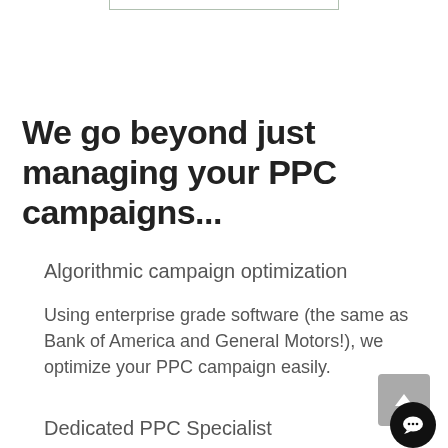[Figure (other): A thin rectangular border/box element at the top center of the page, open at the top]
We go beyond just managing your PPC campaigns...
Algorithmic campaign optimization
Using enterprise grade software (the same as Bank of America and General Motors!), we optimize your PPC campaign easily.
Dedicated PPC Specialist